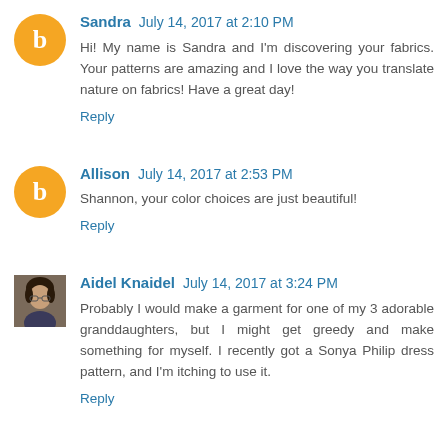Sandra July 14, 2017 at 2:10 PM
Hi! My name is Sandra and I'm discovering your fabrics. Your patterns are amazing and I love the way you translate nature on fabrics! Have a great day!
Reply
Allison July 14, 2017 at 2:53 PM
Shannon, your color choices are just beautiful!
Reply
Aidel Knaidel July 14, 2017 at 3:24 PM
Probably I would make a garment for one of my 3 adorable granddaughters, but I might get greedy and make something for myself. I recently got a Sonya Philip dress pattern, and I'm itching to use it.
Reply